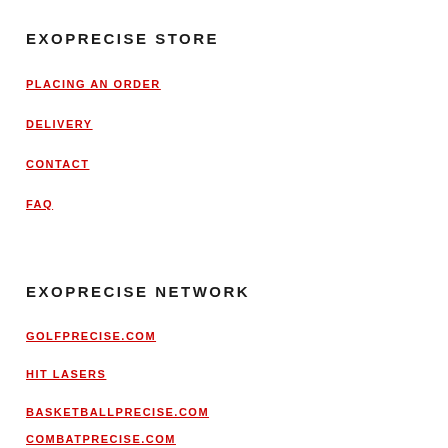EXOPRECISE STORE
PLACING AN ORDER
DELIVERY
CONTACT
FAQ
EXOPRECISE NETWORK
GOLFPRECISE.COM
HIT LASERS
BASKETBALLPRECISE.COM
COMBATPRECISE.COM